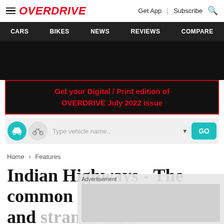≡ OVERDRIVE  |  Get App  |  Subscribe  🔍
CARS  BIKES  NEWS  REVIEWS  COMPARE
[Figure (other): Dark advertisement banner area]
Get your Digital / Print edition of OVERDRIVE July 2022 issue
[Figure (other): Vehicle search bar with car and bike icons, text input 'Type vehicle name..', dropdown arrow, and GO button]
Home > Features
Indian Highways - The common and strange si…
Bob Ru…
[Figure (other): Advertisement overlay box]
[Figure (other): Social share icons: Facebook, Twitter, WhatsApp]